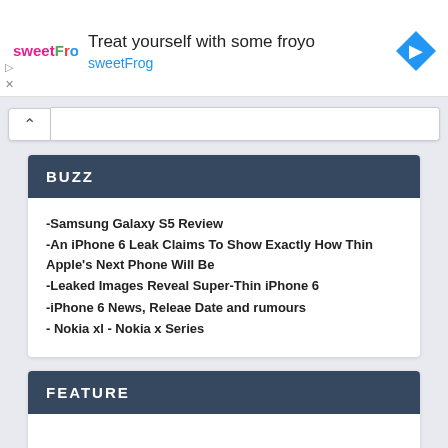[Figure (infographic): SweetFrog advertisement banner: logo on left, 'Treat yourself with some froyo' headline, 'sweetFrog' subtitle in blue, navigation diamond icon on right]
BUZZ
-Samsung Galaxy S5 Review
-An iPhone 6 Leak Claims To Show Exactly How Thin Apple's Next Phone Will Be
-Leaked Images Reveal Super-Thin iPhone 6
-iPhone 6 News, Releae Date and rumours
- Nokia xl - Nokia x Series
FEATURE